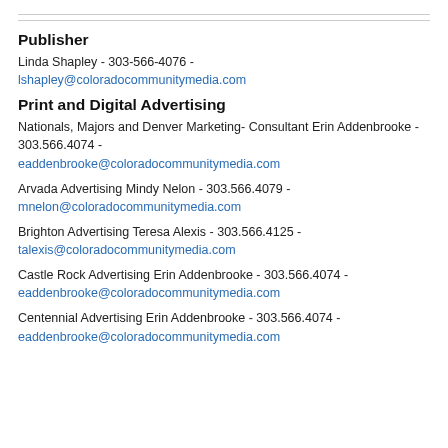Publisher
Linda Shapley - 303-566-4076 - lshapley@coloradocommunitymedia.com
Print and Digital Advertising
Nationals, Majors and Denver Marketing- Consultant Erin Addenbrooke - 303.566.4074 - eaddenbrooke@coloradocommunitymedia.com
Arvada Advertising Mindy Nelon - 303.566.4079 - mnelon@coloradocommunitymedia.com
Brighton Advertising Teresa Alexis - 303.566.4125 - talexis@coloradocommunitymedia.com
Castle Rock Advertising Erin Addenbrooke - 303.566.4074 - eaddenbrooke@coloradocommunitymedia.com
Centennial Advertising Erin Addenbrooke - 303.566.4074 - eaddenbrooke@coloradocommunitymedia.com